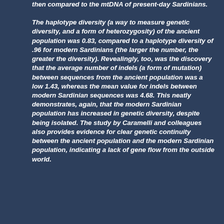then compared to the mtDNA of present-day Sardinians.
The haplotype diversity (a way to measure genetic diversity, and a form of heterozygosity) of the ancient population was 0.83, compared to a haplotype diversity of .96 for modern Sardinians (the larger the number, the greater the diversity). Revealingly, too, was the discovery that the average number of indels (a form of mutation) between sequences from the ancient population was a low 1.43, whereas the mean value for indels between modern Sardinian sequences was 4.68. This neatly demonstrates, again, that the modern Sardinian population has increased in genetic diversity, despite being isolated. The study by Caramelli and colleagues also provides evidence for clear genetic continuity between the ancient population and the modern Sardinian population, indicating a lack of gene flow from the outside world.